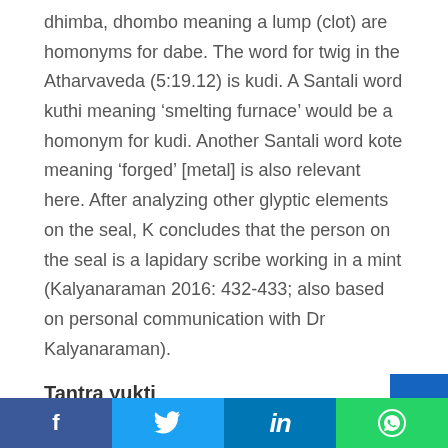dhimba, dhombo meaning a lump (clot) are homonyms for dabe. The word for twig in the Atharvaveda (5:19.12) is kudi. A Santali word kuthi meaning 'smelting furnace' would be a homonym for kudi. Another Santali word kote meaning 'forged' [metal] is also relevant here. After analyzing other glyptic elements on the seal, K concludes that the person on the seal is a lapidary scribe working in a mint (Kalyanaraman 2016: 432-433; also based on personal communication with Dr Kalyanaraman).
Tantra yukti
[Figure (other): Social sharing bar with Facebook, Twitter, LinkedIn, and WhatsApp buttons]